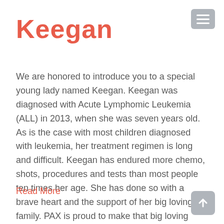Keegan
We are honored to introduce you to a special young lady named Keegan. Keegan was diagnosed with Acute Lymphomic Leukemia (ALL) in 2013, when she was seven years old. As is the case with most children diagnosed with leukemia, her treatment regimen is long and difficult. Keegan has endured more chemo, shots, procedures and tests than most people ten times her age. She has done so with a brave heart and the support of her big loving family. PAX is proud to make that big loving family a bit bigger as our Army of Love joins her in her fight.
Read More